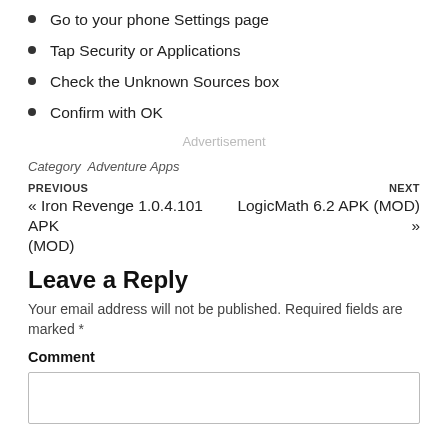Go to your phone Settings page
Tap Security or Applications
Check the Unknown Sources box
Confirm with OK
Advertisement
Category   Adventure Apps
PREVIOUS
« Iron Revenge 1.0.4.101 APK (MOD)
NEXT
LogicMath 6.2 APK (MOD) »
Leave a Reply
Your email address will not be published. Required fields are marked *
Comment